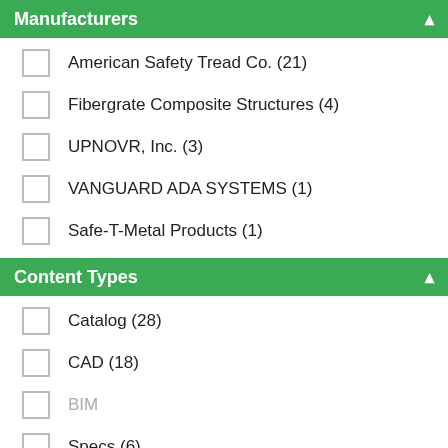Manufacturers
American Safety Tread Co. (21)
Fibergrate Composite Structures (4)
UPNOVR, Inc. (3)
VANGUARD ADA SYSTEMS (1)
Safe-T-Metal Products (1)
Content Types
Catalog (28)
CAD (18)
BIM
Specs (6)
Galleries (4)
CEU